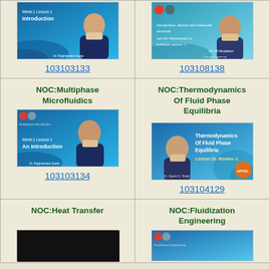[Figure (screenshot): Thumbnail for NOC course 103103133, Week 1 Lesson 1 Introduction, Dr. Raghvendra Gupta]
103103133
[Figure (screenshot): Thumbnail for NOC course 103108138, Introduction to pollution control, Dr. J.R. Mudakavi]
103108138
NOC:Multiphase Microfluidics
[Figure (screenshot): Thumbnail for NOC Multiphase Microfluidics course 103103134, Week 1 Lesson 1 An Introduction, Dr. Raghvendra Gupta]
103103134
NOC:Thermodynamics Of Fluid Phase Equilibria
[Figure (screenshot): Thumbnail for NOC Thermodynamics Of Fluid Phase Equilibria course 103104129, Lecture 01 Review 1, Dr. Jayant K. Singh]
103104129
NOC:Heat Transfer
[Figure (screenshot): Thumbnail for NOC Heat Transfer course - dark/black image]
NOC:Fluidization Engineering
[Figure (screenshot): Thumbnail for NOC Fluidization Engineering course]